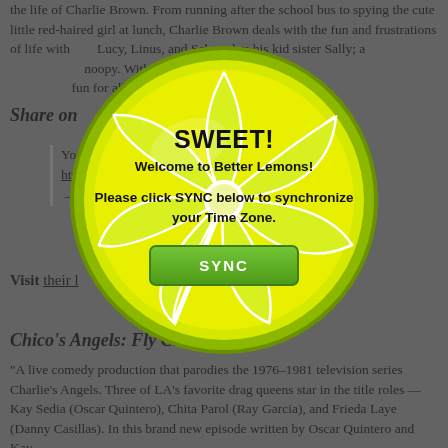the life of Charlie Brown. From running after the school bus to spying the cute little red-haired girl at lunch, Charlie Brown deals with the fun and frustrations of life with Lucy, Linus, and Schroeder; his kid sister Sally; and his faithful dog Snoopy. With charm, wit, and heart, "Y..." fun for all ages."
Share on...
You're... https:... — Be...
Visit their ... Calendar Page for ticke...
Chico's Angels: Fly Chica Fly
"A live comedy production that parodies the 1976–1981 television series Charlie's Angels. Three of LA's favorite drag queens star in the title roles — Kay Sedia (Oscar Quintero), Chita Parol (Ray Garcia), and Frieda Laye (Danny Casillas). In this brand new episode written by Oscar Quintero and Kay..."
[Figure (illustration): A modal popup overlay featuring a large lemon slice (green-yellow citrus cross-section) graphic. The modal contains text: 'SWEET! Welcome to Better Lemons! Please click SYNC below to synchronize your Time Zone.' with a green SYNC button.]